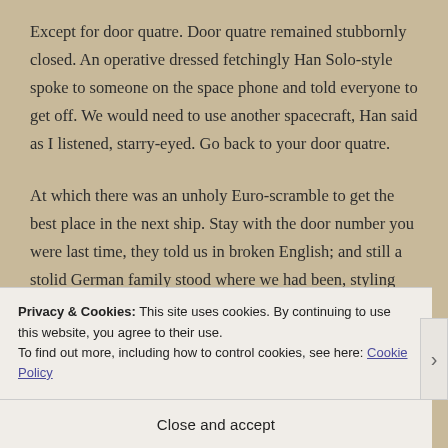Except for door quatre. Door quatre remained stubbornly closed. An operative dressed fetchingly Han Solo-style spoke to someone on the space phone and told everyone to get off. We would need to use another spacecraft, Han said as I listened, starry-eyed. Go back to your door quatre.
At which there was an unholy Euro-scramble to get the best place in the next ship. Stay with the door number you were last time, they told us in broken English; and still a stolid German family stood where we had been, styling
Privacy & Cookies: This site uses cookies. By continuing to use this website, you agree to their use.
To find out more, including how to control cookies, see here: Cookie Policy
Close and accept